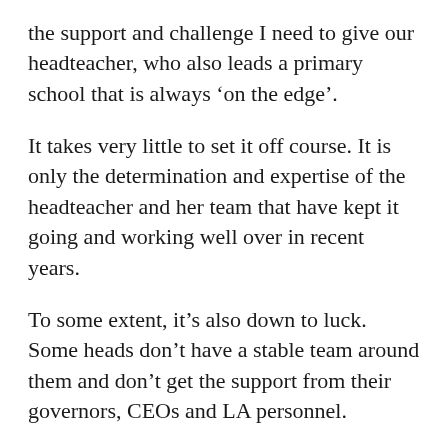the support and challenge I need to give our headteacher, who also leads a primary school that is always ‘on the edge’.
It takes very little to set it off course. It is only the determination and expertise of the headteacher and her team that have kept it going and working well over in recent years.
To some extent, it’s also down to luck. Some heads don’t have a stable team around them and don’t get the support from their governors, CEOs and LA personnel.
Some heads are let down by their i...